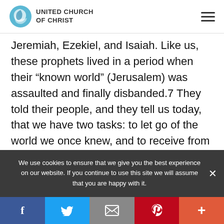UNITED CHURCH OF CHRIST
Jeremiah, Ezekiel, and Isaiah. Like us, these prophets lived in a period when their “known world” (Jerusalem) was assaulted and finally disbanded.7 They told their people, and they tell us today, that we have two tasks: to let go of the world we once knew, and to receive from God a new world. As Isaiah says, “Do not
We use cookies to ensure that we give you the best experience on our website. If you continue to use this site we will assume that you are happy with it.
[Figure (infographic): Social sharing bar with Facebook, Twitter, Email, Pinterest, and More buttons]